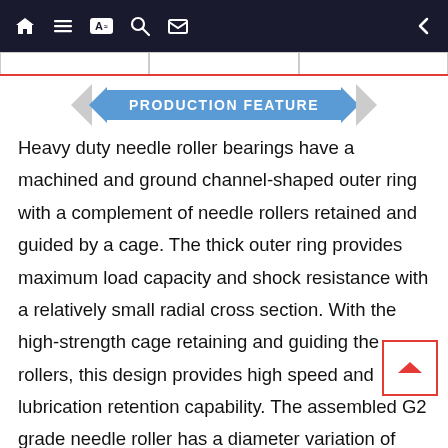Navigation bar with home, list, translate, search, mail icons and back arrow
PRODUCTION FEATURE
Heavy duty needle roller bearings have a machined and ground channel-shaped outer ring with a complement of needle rollers retained and guided by a cage. The thick outer ring provides maximum load capacity and shock resistance with a relatively small radial cross section. With the high-strength cage retaining and guiding the rollers, this design provides high speed and lubrication retention capability. The assembled G2 grade needle roller has a diameter variation of less than 2μm in groups. In addition to fully loaded needle bearing, all adopt high rigidity cage